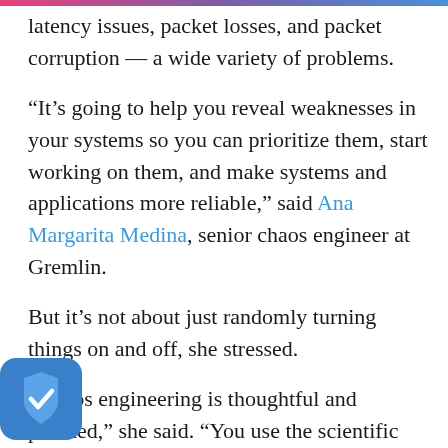latency issues, packet losses, and packet corruption — a wide variety of problems.
“It’s going to help you reveal weaknesses in your systems so you can prioritize them, start working on them, and make systems and applications more reliable,” said Ana Margarita Medina, senior chaos engineer at Gremlin.
But it’s not about just randomly turning things on and off, she stressed.
“Chaos engineering is thoughtful and planned,” she said. “You use the scientific method. You think about weaknesses you’ve seen in a prior test, or you think about your mental model and look at its fragile